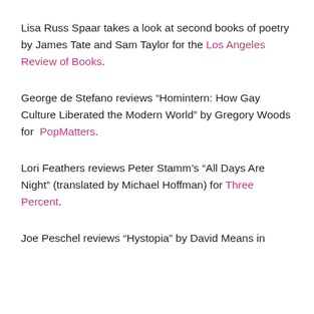Lisa Russ Spaar takes a look at second books of poetry by James Tate and Sam Taylor for the Los Angeles Review of Books.
George de Stefano reviews “Homintern: How Gay Culture Liberated the Modern World” by Gregory Woods for PopMatters.
Lori Feathers reviews Peter Stamm’s “All Days Are Night” (translated by Michael Hoffman) for Three Percent.
Joe Peschel reviews “Hystopia” by David Means in